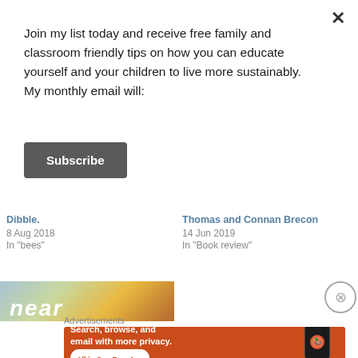Join my list today and receive free family and classroom friendly tips on how you can educate yourself and your children to live more sustainably. My monthly email will:
Subscribe
Dibble.
8 Aug 2018
In "bees"
Thomas and Connan Brecon
14 Jun 2019
In "Book review"
[Figure (photo): Partial book cover image showing the word 'near' in white italic text over a nature scene with autumn leaves and birds]
Advertisements
[Figure (screenshot): DuckDuckGo advertisement banner: 'Search, browse, and email with more privacy. All in One Free App' with a phone mockup showing DuckDuckGo logo]